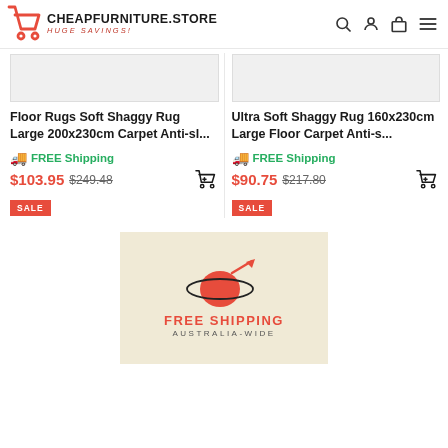[Figure (logo): CheapFurniture.Store logo with red shopping cart icon, site name in bold black, and 'HUGE SAVINGS!' subtitle in red italic]
[Figure (other): Gray placeholder rectangle for product image (Floor Rugs Soft Shaggy Rug)]
[Figure (other): Gray placeholder rectangle for product image (Ultra Soft Shaggy Rug)]
Floor Rugs Soft Shaggy Rug Large 200x230cm Carpet Anti-sl...
Ultra Soft Shaggy Rug 160x230cm Large Floor Carpet Anti-s...
🚚  FREE Shipping
🚚  FREE Shipping
$103.95  $249.48
$90.75  $217.80
SALE
SALE
[Figure (illustration): Free Shipping Australia-Wide banner with red planet/rocket logo on beige/cream background]